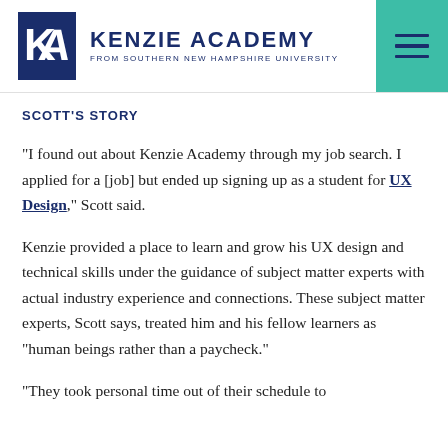KENZIE ACADEMY FROM SOUTHERN NEW HAMPSHIRE UNIVERSITY
SCOTT'S STORY
“I found out about Kenzie Academy through my job search. I applied for a [job] but ended up signing up as a student for UX Design,” Scott said.
Kenzie provided a place to learn and grow his UX design and technical skills under the guidance of subject matter experts with actual industry experience and connections. These subject matter experts, Scott says, treated him and his fellow learners as “human beings rather than a paycheck.”
“They took personal time out of their schedule to